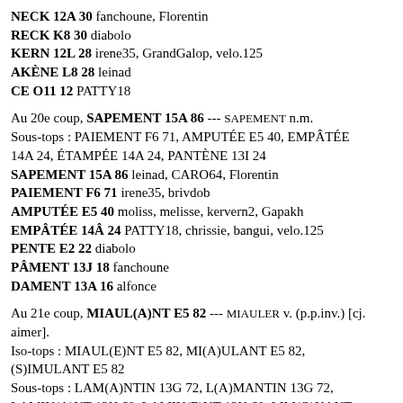NECK 12A 30 fanchoune, Florentin
RECK K8 30 diabolo
KERN 12L 28 irene35, GrandGalop, velo.125
AKÈNE L8 28 leinad
CE O11 12 PATTY18
Au 20e coup, SAPEMENT 15A 86 --- SAPEMENT n.m. Sous-tops : PAIEMENT F6 71, AMPUTÉE E5 40, EMPÂTÉE 14A 24, ÉTAMPÉE 14A 24, PANTÈNE 13I 24
SAPEMENT 15A 86 leinad, CARO64, Florentin
PAIEMENT F6 71 irene35, brivdob
AMPUTÉE E5 40 moliss, melisse, kervern2, Gapakh
EMPÂTÉE 14Â 24 PATTY18, chrissie, bangui, velo.125
PENTE E2 22 diabolo
PÂMENT 13J 18 fanchoune
DAMENT 13A 16 alfonce
Au 21e coup, MIAUL(A)NT E5 82 --- MIAULER v. (p.p.inv.) [cj. aimer]. Iso-tops : MIAUL(E)NT E5 82, MI(A)ULANT E5 82, (S)IMULANT E5 82 Sous-tops : LAM(A)NTIN 13G 72, L(A)MANTIN 13G 72, LAMIN(A)NT 13H 68, LAMIN(E)NT 13H 68, LIM(O)NANT 13H 68
MIAUL(E)NT E5 82 Gapakh, lajeanne